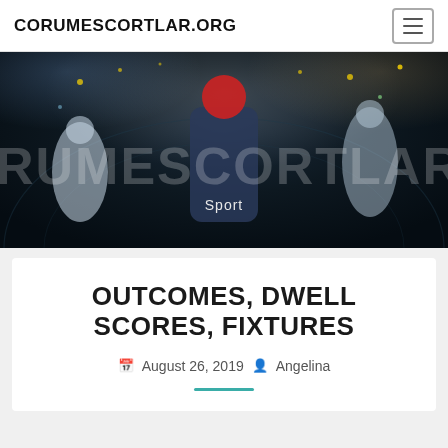CORUMESCORTLAR.ORG
[Figure (photo): Sports banner image showing football/basketball athletes in action with stadium lights. Text overlay reads 'RUMESCORTLAR.OR' in large letters and 'Sport' label below center.]
OUTCOMES, DWELL SCORES, FIXTURES
August 26, 2019  Angelina